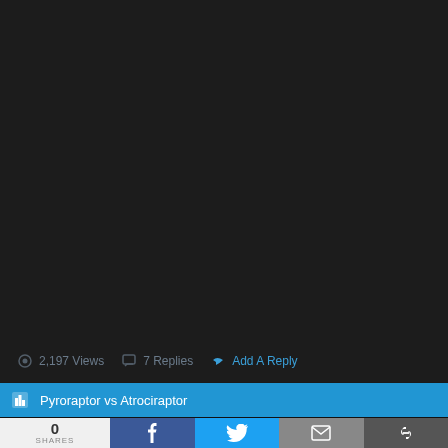[Figure (screenshot): Dark background area, mostly black/dark gray, representing a video or forum content area]
2,197 Views
7 Replies
Add A Reply
Pyroraptor vs Atrociraptor
0 SHARES